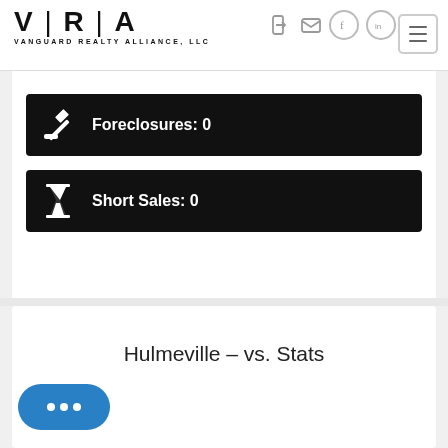[Figure (logo): VRA Vanguard Realty Alliance, LLC logo with stylized V|R|A lettering]
Foreclosures: 0
Short Sales: 0
Hulmeville - vs. Stats